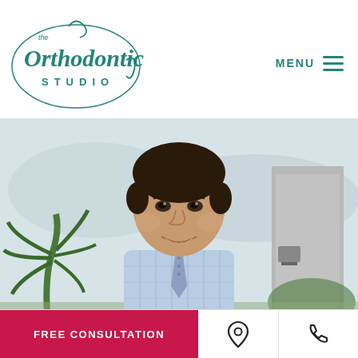[Figure (logo): The Orthodontic Studio logo in teal cursive and serif font]
MENU
[Figure (photo): Professional headshot of a smiling male orthodontist in a light blue plaid shirt and blue tie, outdoors with palm plants and buildings in background]
FREE CONSULTATION
[Figure (other): Location pin icon]
[Figure (other): Phone icon]